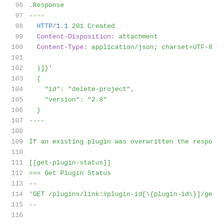96  .Response
97  ----
98    HTTP/1.1 201 Created
99    Content-Disposition: attachment
100   Content-Type: application/json; charset=UTF-8
101
102   )]}'\n103   {
104     "id": "delete-project",
105     "version": "2.8"
106   }
107  ----
108
109  If an existing plugin was overwritten the respo
110
111  [[get-plugin-status]]
112  === Get Plugin Status
113  --
114  'GET /plugins/link:#plugin-id[\{plugin-id\}]/ge
115  --
116